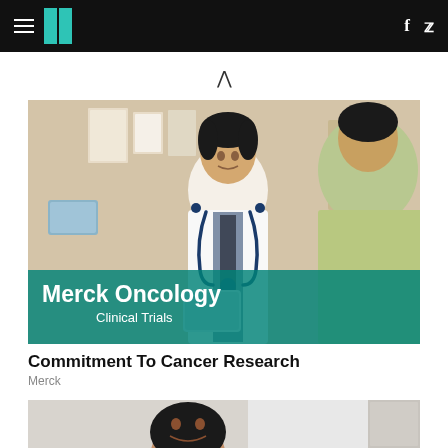HuffPost navigation with hamburger menu, logo, Facebook and Twitter icons
[Figure (photo): Doctor in white coat with stethoscope consulting with a patient in a clinic setting, with anatomical charts visible on wall in background. Overlay banner reads 'Merck Oncology Clinical Trials' on teal background.]
Commitment To Cancer Research
Merck
[Figure (photo): Partial view of a person smiling, appearing to be in a clinical or office setting.]